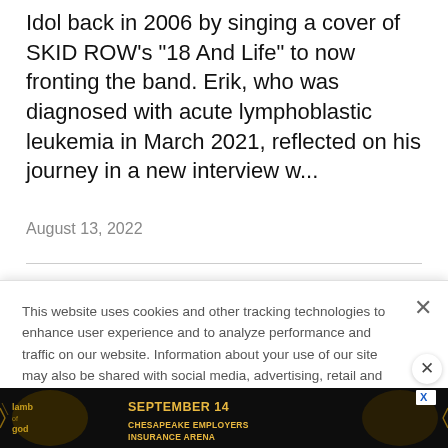Idol back in 2006 by singing a cover of SKID ROW's "18 And Life" to now fronting the band. Erik, who was diagnosed with acute lymphoblastic leukemia in March 2021, reflected on his journey in a new interview w...
August 13, 2022
[Figure (photo): Partial photo of band members outdoors against a stone wall background, showing two figures with hats]
This website uses cookies and other tracking technologies to enhance user experience and to analyze performance and traffic on our website. Information about your use of our site may also be shared with social media, advertising, retail and analytics providers and partners. Privacy Policy
[Figure (infographic): Advertisement banner for Lamb of God concert: September 14, Chesapeake Employers Insurance Arena]